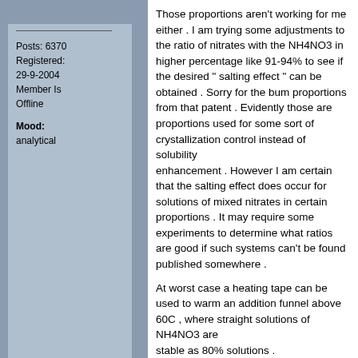Posts: 6370
Registered: 29-9-2004
Member Is Offline

Mood: analytical
Those proportions aren't working for me either . I am trying some adjustments to the ratio of nitrates with the NH4NO3 in higher percentage like 91-94% to see if the desired " salting effect " can be obtained . Sorry for the bum proportions from that patent . Evidently those are proportions used for some sort of crystallization control instead of solubility enhancement . However I am certain that the salting effect does occur for solutions of mixed nitrates in certain proportions . It may require some experiments to determine what ratios are good if such systems can't be found published somewhere .

At worst case a heating tape can be used to warm an addition funnel above 60C , where straight solutions of NH4NO3 are stable as 80% solutions .

From what I have observed of these strong solutions of nitrates , they will best be prepared a couple of days in advance and allowed to stand and filtered before use , since they tend to cloud and precipitate any impurities when simply allowed to stand for awhile .

It could also be useful to dissolve NH4NO3 in HNO3 in order to provide an additional source of HNO3 without the introduction of excess water . NH4NO3 is very soluble in HNO3 , to an extent of 50% at 15C . For example see PATR , A-329 for a chart . This could be a very useful method of